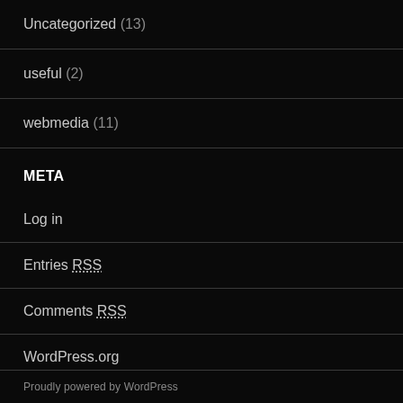Uncategorized (13)
useful (2)
webmedia (11)
META
Log in
Entries RSS
Comments RSS
WordPress.org
Proudly powered by WordPress